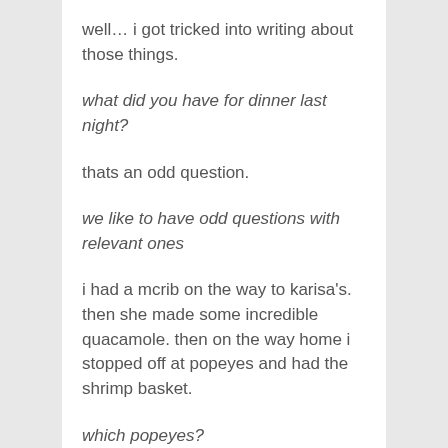well… i got tricked into writing about those things.
what did you have for dinner last night?
thats an odd question.
we like to have odd questions with relevant ones
i had a mcrib on the way to karisa's. then she made some incredible quacamole. then on the way home i stopped off at popeyes and had the shrimp basket.
which popeyes?